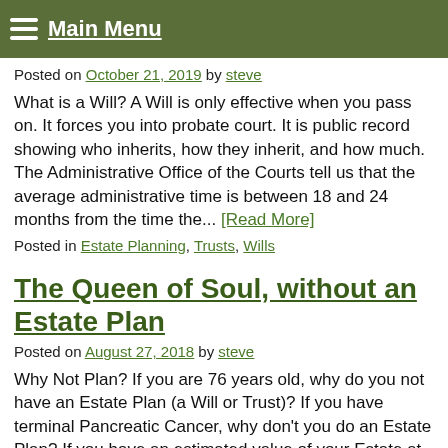Main Menu
Posted on October 21, 2019 by steve
What is a Will? A Will is only effective when you pass on. It forces you into probate court. It is public record showing who inherits, how they inherit, and how much. The Administrative Office of the Courts tell us that the average administrative time is between 18 and 24 months from the time the... [Read More]
Posted in Estate Planning, Trusts, Wills
The Queen of Soul, without an Estate Plan
Posted on August 27, 2018 by steve
Why Not Plan? If you are 76 years old, why do you not have an Estate Plan (a Will or Trust)? If you have terminal Pancreatic Cancer, why don't you do an Estate Plan? If you have an estimated value of your Estate at over $80 million dollars, why don't you do an Estate Plan?... [Read More]